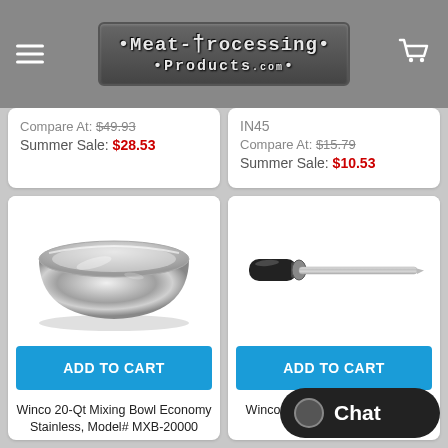Meat-Processing Products.com
Compare At: $49.93
Summer Sale: $28.53
IN45
Compare At: $15.79
Summer Sale: $10.53
[Figure (photo): Stainless steel mixing bowl, large, economy grade]
ADD TO CART
Winco 20-Qt Mixing Bowl Economy Stainless, Model# MXB-20000
[Figure (photo): Knife sharpening steel rod with black handle]
ADD TO CART
Winco 14" Carbon Steel Round, Model# K-34S
Chat